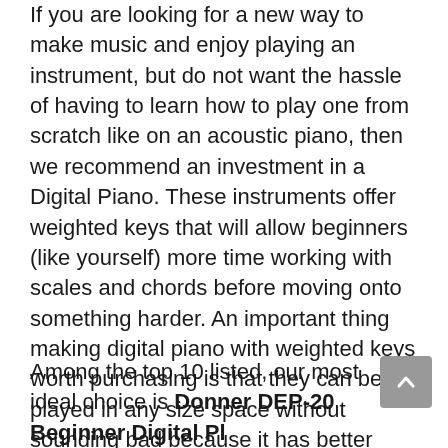If you are looking for a new way to make music and enjoy playing an instrument, but do not want the hassle of having to learn how to play one from scratch like on an acoustic piano, then we recommend an investment in a Digital Piano. These instruments offer weighted keys that will allow beginners (like yourself) more time working with scales and chords before moving onto something harder. An important thing making digital piano with weighted keys worth purchasing is that they can be played in any size space without sounding bad because it has better acoustics than traditional models do.
Among the top 10 listed, our most ideal choice is Donner DEP-20 Beginner Digital Pi...